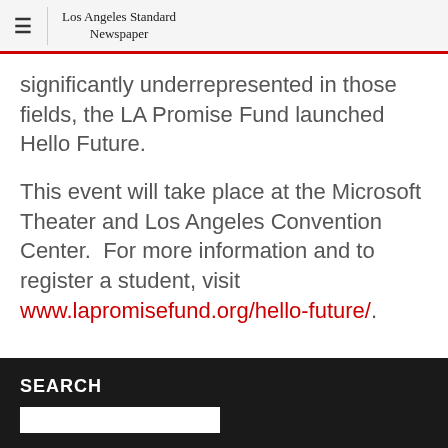Los Angeles Standard Newspaper
significantly underrepresented in those fields, the LA Promise Fund launched Hello Future.
This event will take place at the Microsoft Theater and Los Angeles Convention Center.  For more information and to register a student, visit www.lapromisefund.org/hello-future/.
SEARCH